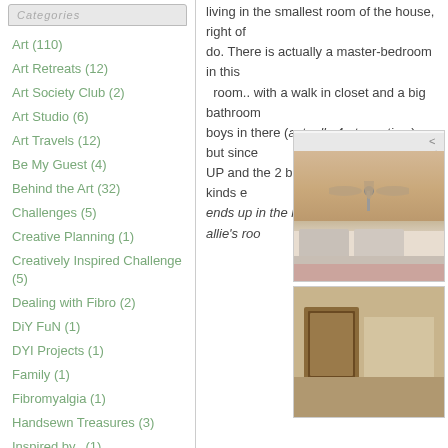Categories
Art (110)
Art Retreats (12)
Art Society Club (2)
Art Studio (6)
Art Travels (12)
Be My Guest (4)
Behind the Art (32)
Challenges (5)
Creative Planning (1)
Creatively Inspired Challenge (5)
Dealing with Fibro (2)
DiY FuN (1)
DYI Projects (1)
Family (1)
Fibromyalgia (1)
Handsewn Treasures (3)
Inspired by.. (1)
living in the smallest room of the house, right of do. There is actually a master-bedroom in this room.. with a walk in closet and a big bathroom boys in there (actually 4 at one time).. but since UP and the 2 boys to move down! Noah kinds e ends up in the living room, our room, allie's roo
[Figure (photo): Two bedroom photos stacked vertically showing a room with ceiling fan and bed with white/cream bedding]